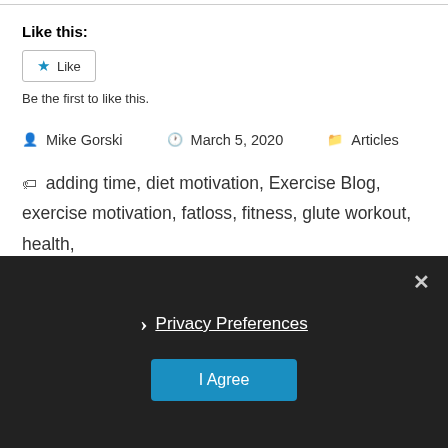Like this:
Like
Be the first to like this.
Mike Gorski   March 5, 2020   Articles
adding time, diet motivation, Exercise Blog, exercise motivation, fatloss, fitness, glute workout, health, healthy, hip strength, inflammation, leg strength, more time, motivation, muscle building, no time, quick workouts, scale, success, water retention, weight loss, weight loss motivation, weight loss plateau, weight loss tips, wellness
Privacy Preferences
I Agree